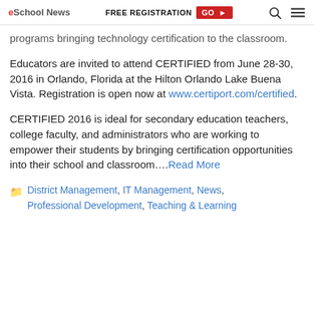eSchool News | FREE REGISTRATION GO ▶
…programs bringing technology certification to the classroom.
Educators are invited to attend CERTIFIED from June 28-30, 2016 in Orlando, Florida at the Hilton Orlando Lake Buena Vista. Registration is open now at www.certiport.com/certified.
CERTIFIED 2016 is ideal for secondary education teachers, college faculty, and administrators who are working to empower their students by bringing certification opportunities into their school and classroom….Read More
District Management, IT Management, News, Professional Development, Teaching & Learning